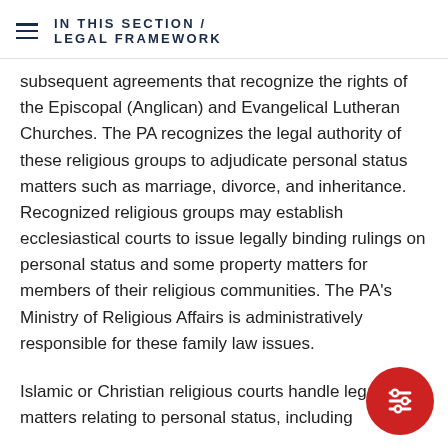IN THIS SECTION / LEGAL FRAMEWORK
subsequent agreements that recognize the rights of the Episcopal (Anglican) and Evangelical Lutheran Churches. The PA recognizes the legal authority of these religious groups to adjudicate personal status matters such as marriage, divorce, and inheritance. Recognized religious groups may establish ecclesiastical courts to issue legally binding rulings on personal status and some property matters for members of their religious communities. The PA's Ministry of Religious Affairs is administratively responsible for these family law issues.
Islamic or Christian religious courts handle legal matters relating to personal status, including